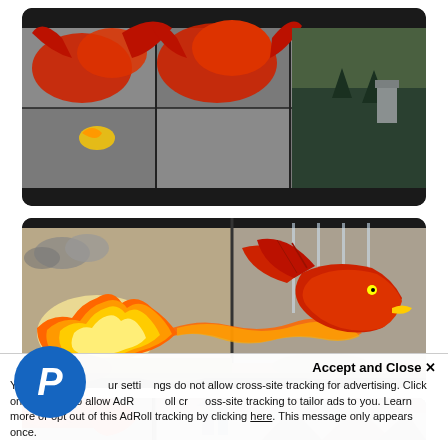[Figure (photo): Top panel: dragon-themed artwork on folded display boxes/panels showing red dragons amid rocks from multiple angles, displayed open on black background]
[Figure (photo): Middle panel: wide horizontal view of dragon artwork - left side shows fireball/flame breath, right side shows red dragon breathing fire over rocky mountain landscape on a display box with acrylic dividers]
[Figure (photo): Bottom panel (partially visible): another angle of the dragon artwork display box showing mountains and dragon wings on grey stony background]
Accept and Close ✕
Your settings do not allow cross-site tracking for advertising. Click on this page to allow AdRoll cross-site tracking to tailor ads to you. Learn more or opt out of this AdRoll tracking by clicking here. This message only appears once.